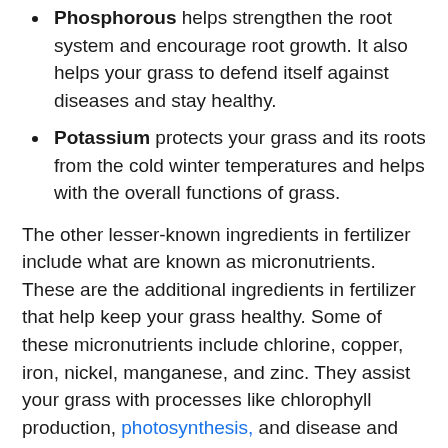Phosphorous helps strengthen the root system and encourage root growth. It also helps your grass to defend itself against diseases and stay healthy.
Potassium protects your grass and its roots from the cold winter temperatures and helps with the overall functions of grass.
The other lesser-known ingredients in fertilizer include what are known as micronutrients. These are the additional ingredients in fertilizer that help keep your grass healthy. Some of these micronutrients include chlorine, copper, iron, nickel, manganese, and zinc. They assist your grass with processes like chlorophyll production, photosynthesis, and disease and pest resistance.
Why Fall Is a Great Time to Fertilize
[Figure (photo): Small thumbnail image of fertilizer on lawn]